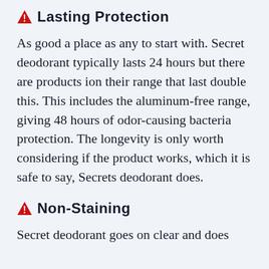Lasting Protection
As good a place as any to start with. Secret deodorant typically lasts 24 hours but there are products ion their range that last double this. This includes the aluminum-free range, giving 48 hours of odor-causing bacteria protection. The longevity is only worth considering if the product works, which it is safe to say, Secrets deodorant does.
Non-Staining
Secret deodorant goes on clear and does